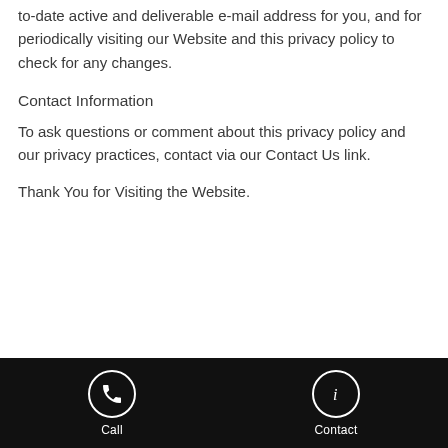to-date active and deliverable e-mail address for you, and for periodically visiting our Website and this privacy policy to check for any changes.
Contact Information
To ask questions or comment about this privacy policy and our privacy practices, contact via our Contact Us link.
Thank You for Visiting the Website.
Call | Contact